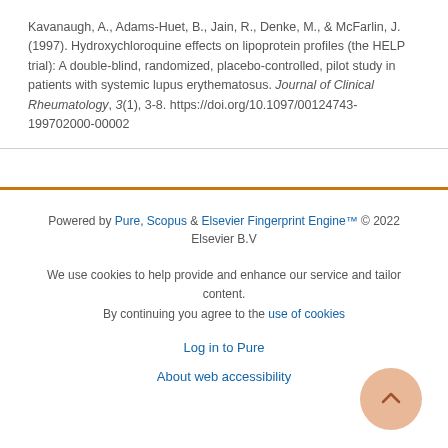Kavanaugh, A., Adams-Huet, B., Jain, R., Denke, M., & McFarlin, J. (1997). Hydroxychloroquine effects on lipoprotein profiles (the HELP trial): A double-blind, randomized, placebo-controlled, pilot study in patients with systemic lupus erythematosus. Journal of Clinical Rheumatology, 3(1), 3-8. https://doi.org/10.1097/00124743-199702000-00002
Powered by Pure, Scopus & Elsevier Fingerprint Engine™ © 2022 Elsevier B.V
We use cookies to help provide and enhance our service and tailor content. By continuing you agree to the use of cookies
Log in to Pure
About web accessibility